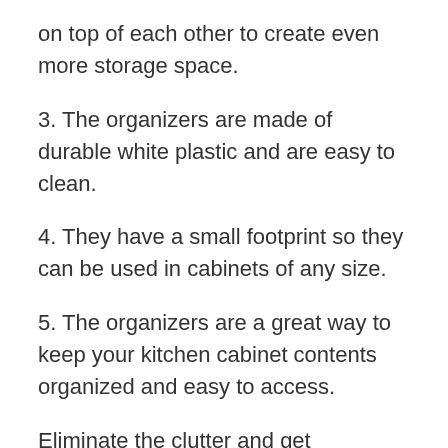on top of each other to create even more storage space.
3. The organizers are made of durable white plastic and are easy to clean.
4. They have a small footprint so they can be used in cabinets of any size.
5. The organizers are a great way to keep your kitchen cabinet contents organized and easy to access.
Eliminate the clutter and get organized with the Carrotez Stackable Pantry Cabinet Organizer Set of 2. These two organizers are perfect for cabinets